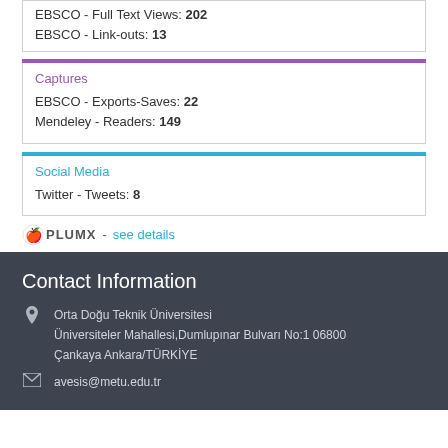EBSCO - Full Text Views: 202
EBSCO - Link-outs: 13
Captures
EBSCO - Exports-Saves: 22
Mendeley - Readers: 149
Social Media
Twitter - Tweets: 8
PLUMX - see details
Contact Information
Orta Doğu Teknik Üniversitesi
Üniversiteler Mahallesi,Dumlupınar Bulvarı No:1 06800
Çankaya Ankara/TÜRKİYE
avesis@metu.edu.tr